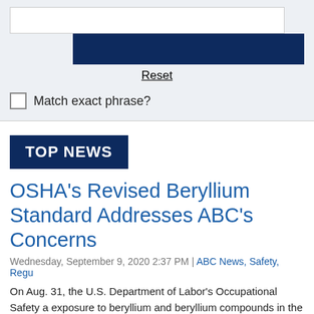[Figure (screenshot): Search form UI with text input field, dark navy blue search button, Reset link, and Match exact phrase checkbox on a light gray background]
Reset
Match exact phrase?
TOP NEWS
OSHA's Revised Beryllium Standard Addresses ABC's Concerns
Wednesday, September 9, 2020 2:37 PM | ABC News, Safety, Regu...
On Aug. 31, the U.S. Department of Labor's Occupational Safety a... exposure to beryllium and beryllium compounds in the constructi... a settlement with the agency to effectively narrow the scope of...